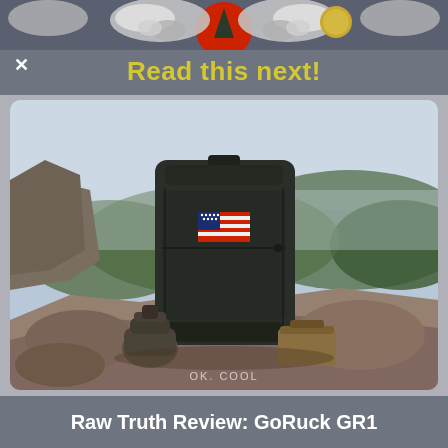[Figure (illustration): Decorative banner with eagle/bird motifs, red circle, and dark background]
Read this next!
[Figure (photo): A dark olive/black GoRuck GR1 backpack with an American flag patch, sitting on rocky mountain terrain with green rolling hills and hazy sky in the background. In front of the pack are two small pouches/accessories on the rocks. Watermark reads OK. COOL.]
Raw Truth Review: GoRuck GR1